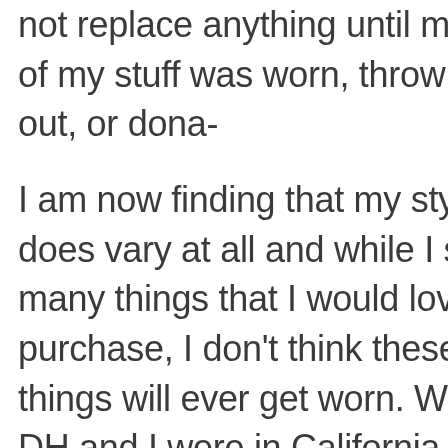not replace anything until most of my stuff was worn, thrown out, or dona-
I am now finding that my style does vary at all and while I see many things that I would love to purchase, I don't think these things will ever get worn. When DH and I were in California this past October there was one evening where most of the women were dressed in cocktail dresses that were